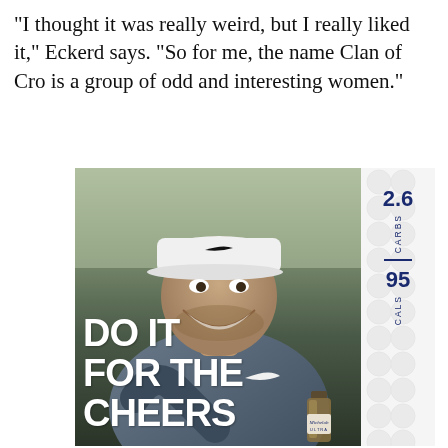“I thought it was really weird, but I really liked it,” Eckerd says. “So for me, the name Clan of Cro is a group of odd and interesting women.”
[Figure (photo): Beer advertisement showing a smiling male golfer wearing a Nike cap and Nike athletic shirt, laughing. Text overlay reads 'DO IT FOR THE CHEERS'. Right side panel shows '2.6 CARBS' and '95 CALS' on a golf ball patterned background. A Michelob Ultra beer bottle is partially visible at the bottom.]